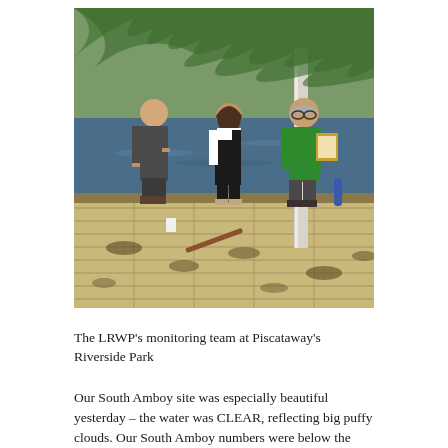[Figure (photo): Three people standing on a wooden dock by a river or lake. One man in a dark shirt stands on the left, a woman in a green top and black pants stands in the middle, and an older man in a green t-shirt holds a clipboard on the right. There is a white pole on the dock. Trees and water are visible in the background.]
The LRWP's monitoring team at Piscataway's Riverside Park
Our South Amboy site was especially beautiful yesterday – the water was CLEAR, reflecting big puffy clouds. Our South Amboy numbers were below the EPA threshold for Enterococcus, with low presence of fecal coliform as well